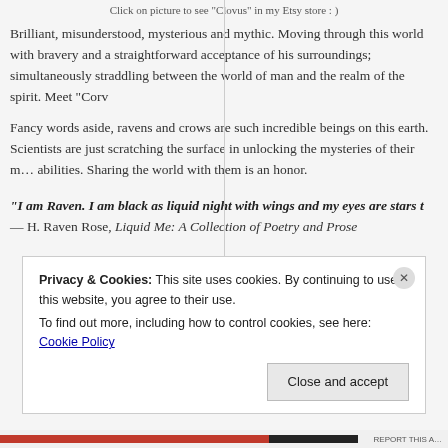Click on picture to see "Clovus" in my Etsy store : )
Brilliant, misunderstood, mysterious and mythic. Moving through this world with bravery and a straightforward acceptance of his surroundings; simultaneously straddling between the world of man and the realm of the spirit. Meet “Corv…
Fancy words aside, ravens and crows are such incredible beings on this earth. Scientists are just scratching the surface in unlocking the mysteries of their m… abilities. Sharing the world with them is an honor.
“I am Raven. I am black as liquid night with wings and my eyes are stars t…
— H. Raven Rose, Liquid Me: A Collection of Poetry and Prose
Privacy & Cookies: This site uses cookies. By continuing to use this website, you agree to their use. To find out more, including how to control cookies, see here: Cookie Policy